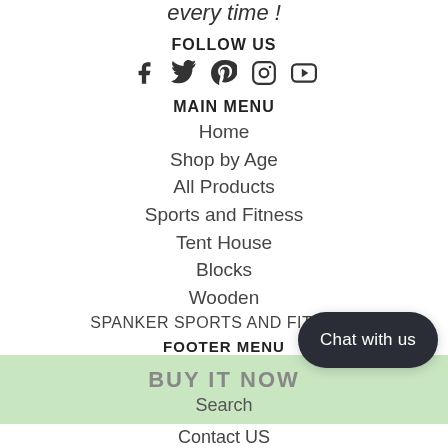every time !
FOLLOW US
[Figure (other): Social media icons: Facebook, Twitter, Pinterest, Instagram, YouTube]
MAIN MENU
Home
Shop by Age
All Products
Sports and Fitness
Tent House
Blocks
Wooden
SPANKER SPORTS AND FITNESS
RC Toys
B2B
Track Your Order
Return order
FOOTER MENU
BUY IT NOW
Search
Contact US